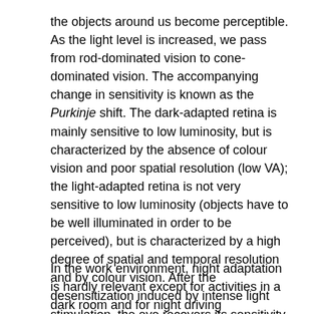the objects around us become perceptible. As the light level is increased, we pass from rod-dominated vision to cone-dominated vision. The accompanying change in sensitivity is known as the Purkinje shift. The dark-adapted retina is mainly sensitive to low luminosity, but is characterized by the absence of colour vision and poor spatial resolution (low VA); the light-adapted retina is not very sensitive to low luminosity (objects have to be well illuminated in order to be perceived), but is characterized by a high degree of spatial and temporal resolution and by colour vision. After the desensitization induced by intense light stimulation, the eye recovers its sensitivity according to a typical progression: at first a rapid change involving cones and daylight or photopic adaptation, followed by a slower phase involving rods and night or scotopic adaptation; the intermediate zone involves dim light or mesopic adaptation.
In the work environment, night adaptation is hardly relevant except for activities in a dark room and for night driving